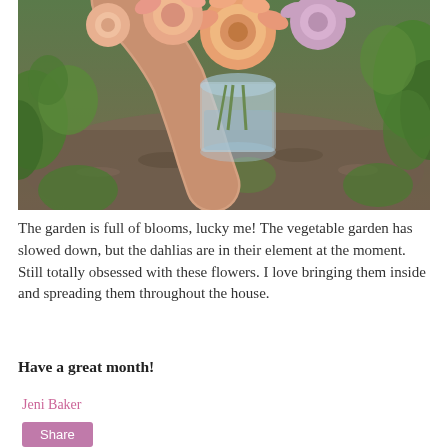[Figure (photo): A person's arm holding a glass jar filled with pink and peach dahlia blooms over a garden path with green leafy plants and mulched soil visible below.]
The garden is full of blooms, lucky me! The vegetable garden has slowed down, but the dahlias are in their element at the moment. Still totally obsessed with these flowers. I love bringing them inside and spreading them throughout the house.
Have a great month!
Jeni Baker
Share